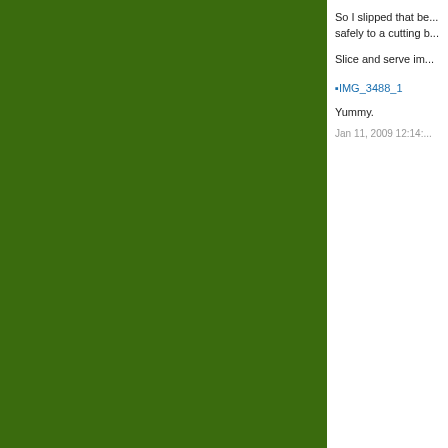[Figure (screenshot): Dark green background occupying the left ~73% of the page]
So I slipped that be... safely to a cutting b...
Slice and serve im...
IMG_3488_1 (image link)
Yummy.
Jan 11, 2009 12:14:...
Com...
2 Comment...
[Figure (illustration): Avatar thumbnail: olive/yellow geometric pattern on green background]
Thi...
[Figure (illustration): Avatar thumbnail: pink/red geometric sunburst pattern]
LO...